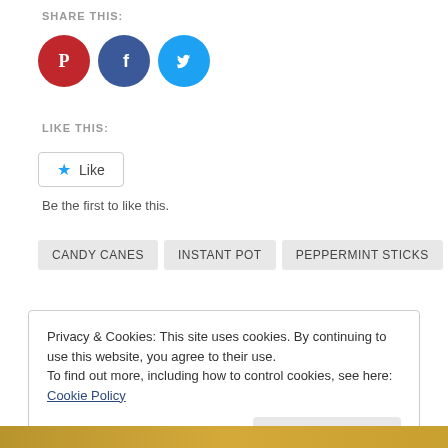Share this:
[Figure (illustration): Three social media icon circles: Pinterest (red), Facebook (blue), Twitter (light blue)]
Like this:
[Figure (illustration): Like button with blue star icon and 'Like' text]
Be the first to like this.
CANDY CANES
Instant Pot
PEPPERMINT STICKS
Privacy & Cookies: This site uses cookies. By continuing to use this website, you agree to their use.
To find out more, including how to control cookies, see here: Cookie Policy
Close and accept